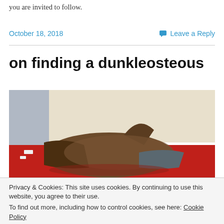you are invited to follow.
October 18, 2018
Leave a Reply
on finding a dunkleosteous
[Figure (photo): Close-up photograph of what appears to be a toy or figurine of a dunkleosteous (prehistoric fish) lying on a red fabric surface, viewed from above at an angle.]
Privacy & Cookies: This site uses cookies. By continuing to use this website, you agree to their use.
To find out more, including how to control cookies, see here: Cookie Policy
Close and accept